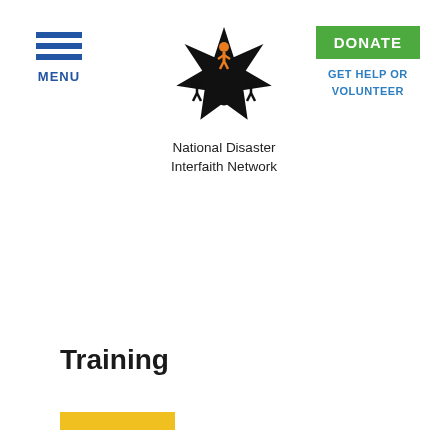[Figure (logo): National Disaster Interfaith Network logo — a star shape with stylized people figures in black and orange, with text 'National Disaster Interfaith Network' below]
MENU
DONATE
GET HELP OR VOLUNTEER
Training